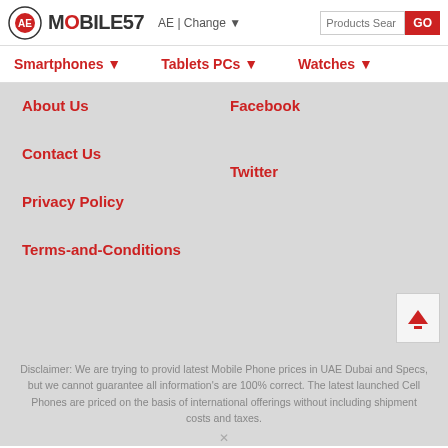MOBILE57 AE | Change
Smartphones ▼   Tablets PCs ▼   Watches ▼
About Us
Facebook
Contact Us
Twitter
Privacy Policy
Terms-and-Conditions
Disclaimer: We are trying to provid latest Mobile Phone prices in UAE Dubai and Specs, but we cannot guarantee all information's are 100% correct. The latest launched Cell Phones are priced on the basis of international offerings without including shipment costs and taxes.